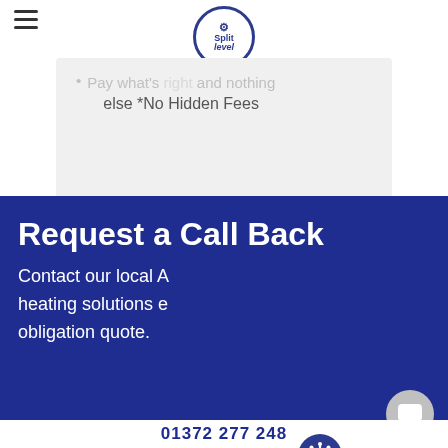[Figure (logo): Split Level logo with gear icon in circular border]
Pay what's right and nothing else *No Hidden Fees
Request a Call Back
Contact our local A… heating solutions e… obligation quote.
Got any questions? I'm happy to help.
01372 277 248